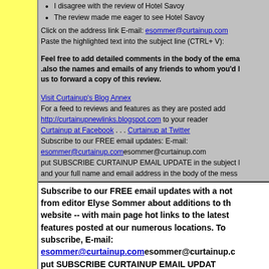I disagree with the review of Hotel Savoy
The review made me eager to see Hotel Savoy
Click on the address link E-mail: esommer@curtainup.com
Paste the highlighted text into the subject line (CTRL+ V):
Feel free to add detailed comments in the body of the email .also the names and emails of any friends to whom you'd like us to forward a copy of this review.
Visit Curtainup's Blog Annex
For a feed to reviews and features as they are posted add http://curtainupnewlinks.blogspot.com to your reader
Curtainup at Facebook . . . Curtainup at Twitter
Subscribe to our FREE email updates: E-mail:
esommer@curtainup.comesommer@curtainup.com
put SUBSCRIBE CURTAINUP EMAIL UPDATE in the subject line and your full name and email address in the body of the message
Subscribe to our FREE email updates with a note from editor Elyse Sommer about additions to the website -- with main page hot links to the latest features posted at our numerous locations. To subscribe, E-mail:
esommer@curtainup.comesommer@curtainup.com put SUBSCRIBE CURTAINUP EMAIL UPDATE in the subject line and your full name and email address in the body of the message -- if you can spare a minute, tell us how you came to CurtainUp and from what part of the country.